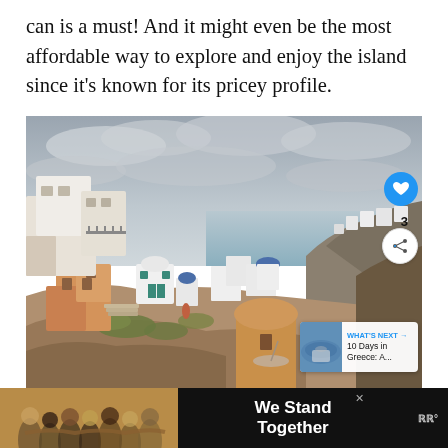can is a must! And it might even be the most affordable way to explore and enjoy the island since it's known for its pricey profile.
[Figure (photo): Panoramic view of Santorini, Greece, showing white-washed buildings with blue domes cascading down a cliffside, with orange/terracotta foreground buildings, green vegetation, and a cloudy grey sky overhead.]
[Figure (infographic): Advertisement banner showing a group of people with arms around each other from behind, with text 'We Stand Together' on dark background, and a close X button.]